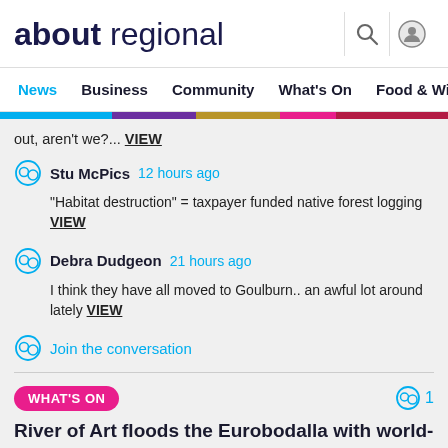about regional
News  Business  Community  What's On  Food & Wi
out, aren't we?... VIEW
Stu McPics  12 hours ago
"Habitat destruction" = taxpayer funded native forest logging VIEW
Debra Dudgeon  21 hours ago
I think they have all moved to Goulburn.. an awful lot around lately VIEW
Join the conversation
WHAT'S ON  1
River of Art floods the Eurobodalla with world-class